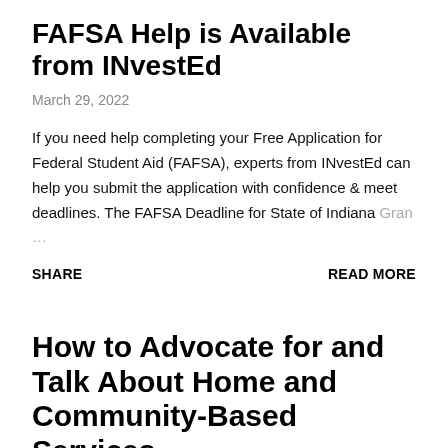FAFSA Help is Available from INvestEd
March 29, 2022
If you need help completing your Free Application for Federal Student Aid (FAFSA), experts from INvestEd can help you submit the application with confidence & meet deadlines. The FAFSA Deadline for State of Indiana Gran …
SHARE
READ MORE
How to Advocate for and Talk About Home and Community-Based Services